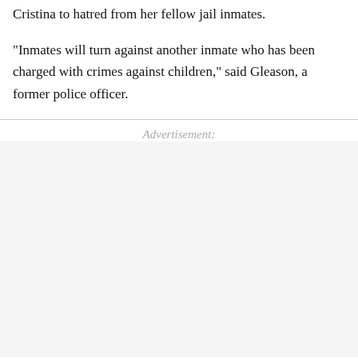Cristina to hatred from her fellow jail inmates.
"Inmates will turn against another inmate who has been charged with crimes against children," said Gleason, a former police officer.
Advertisement: